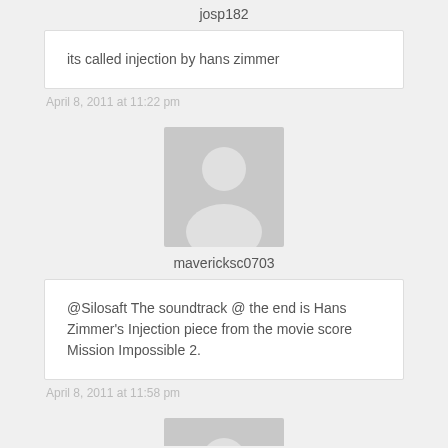josp182
its called injection by hans zimmer
April 8, 2011 at 11:22 pm
[Figure (illustration): Generic user avatar placeholder (gray person silhouette on light gray background)]
mavericksc0703
@Silosaft The soundtrack @ the end is Hans Zimmer's Injection piece from the movie score Mission Impossible 2.
April 8, 2011 at 11:58 pm